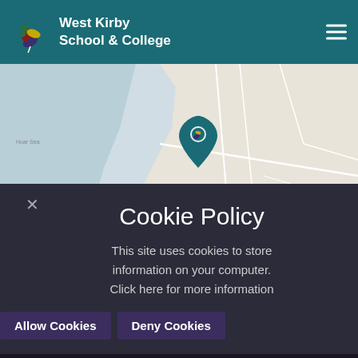West Kirby School & College
[Figure (map): Street map showing West Kirby area with a teal location pin marker. Map shows coastal area to the left (Irish Sea), with streets and place names including Grange Hill, West Kirby, Newton visible.]
Cookie Policy
This site uses cookies to store information on your computer. Click here for more information
Allow Cookies   Deny Cookies
Alcote Drive, West